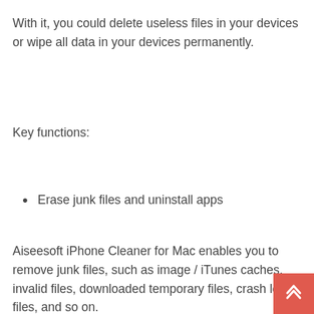With it, you could delete useless files in your devices or wipe all data in your devices permanently.
Key functions:
Erase junk files and uninstall apps
Aiseesoft iPhone Cleaner for Mac enables you to remove junk files, such as image / iTunes caches, invalid files, downloaded temporary files, crash log files, and so on.
It is also powerful in uninstalling the apps which you no longer use.
2. Delete large files As it is known to us, there are often some large video files in our devices which occupy large space. If you want to wipe